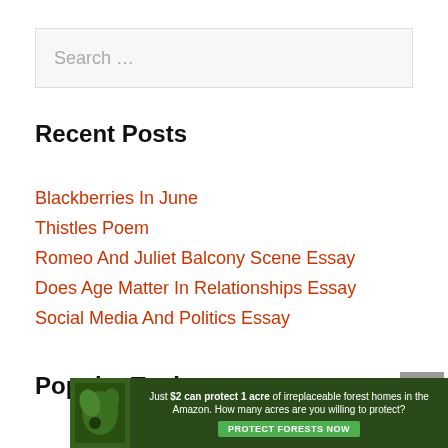Search …
Recent Posts
Blackberries In June
Thistles Poem
Romeo And Juliet Balcony Scene Essay
Does Age Matter In Relationships Essay
Social Media And Politics Essay
Popular Topics
[Figure (infographic): Advertisement banner: Just $2 can protect 1 acre of irreplaceable forest homes in the Amazon. How many acres are you willing to protect? PROTECT FORESTS NOW]